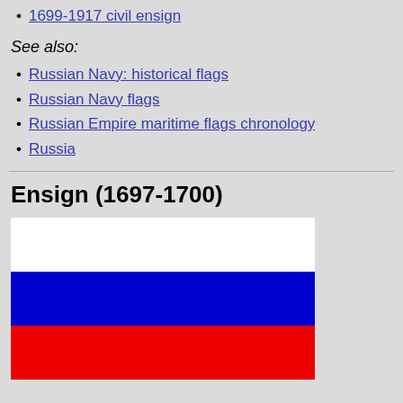1699-1917 civil ensign
See also:
Russian Navy: historical flags
Russian Navy flags
Russian Empire maritime flags chronology
Russia
Ensign (1697-1700)
[Figure (illustration): Russian tricolor flag with three horizontal stripes: white on top, blue in the middle, and red on the bottom. This represents the Ensign from 1697-1700.]